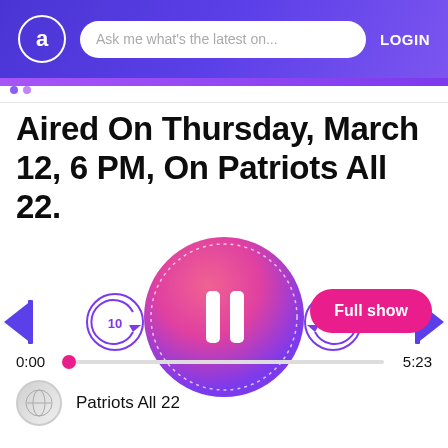Ask me what's the latest on... LOGIN
Aired On Thursday, March 12, 6 PM, On Patriots All 22.
[Figure (other): Audio player with pause button (gradient pink to purple circle), skip back, rewind 10s, forward 10s, skip forward controls. Progress bar showing 0:00 to 5:23.]
Full show
0:00   5:23
Patriots All 22